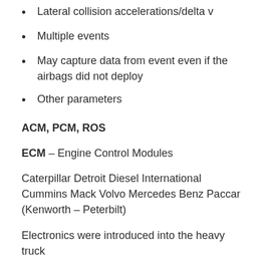Lateral collision accelerations/delta v
Multiple events
May capture data from event even if the airbags did not deploy
Other parameters
ACM, PCM, ROS
ECM – Engine Control Modules
Caterpillar Detroit Diesel International Cummins Mack Volvo Mercedes Benz Paccar (Kenworth – Peterbilt)
Electronics were introduced into the heavy truck